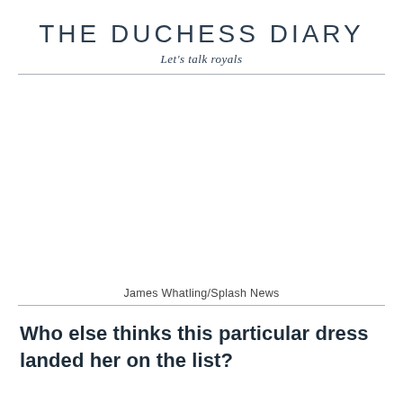THE DUCHESS DIARY
Let's talk royals
[Figure (photo): Blank/white image area representing a photo placeholder]
James Whatling/Splash News
Who else thinks this particular dress landed her on the list?